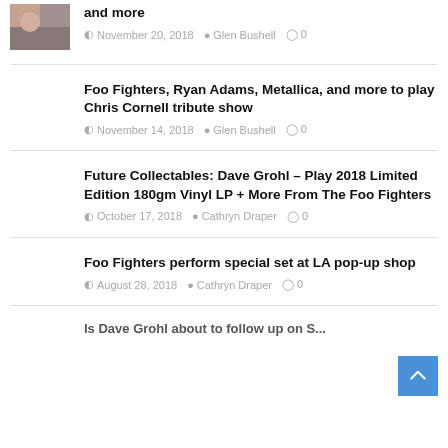and more — November 20, 2018 — Glen Bushell — 0 comments
Foo Fighters, Ryan Adams, Metallica, and more to play Chris Cornell tribute show — November 14, 2018 — Glen Bushell — 0 comments
Future Collectables: Dave Grohl – Play 2018 Limited Edition 180gm Vinyl LP + More From The Foo Fighters — October 17, 2018 — Cathryn Draper — 0 comments
Foo Fighters perform special set at LA pop-up shop — August 28, 2018 — Cathryn Draper — 0 comments
Is Dave Grohl about to follow up on S...